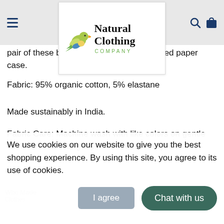Natural Clothing Company — navigation header with logo, hamburger menu, search and bag icons
pair of these boxer briefs come in a recycled paper case.
Fabric: 95% organic cotton, 5% elastane
Made sustainably in India.
Fabric Care: Machine wash with like colors on gentle warm or cold. Hang dry, do not tumble dry. Do not dry clean.
We use cookies on our website to give you the best shopping experience. By using this site, you agree to its use of cookies.
Billybelt Billybelt was founded by two French brothers with a passion for the finest accessories and